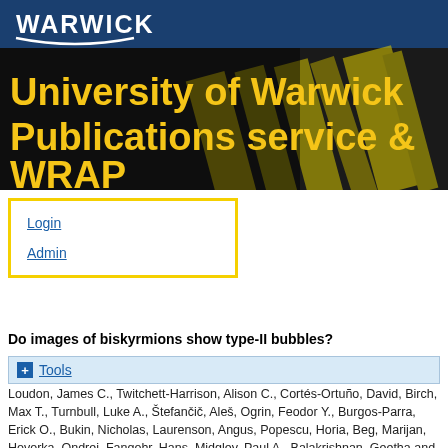[Figure (logo): University of Warwick logo banner with WARWICK text and arc underline on dark blue bar, with background photo of yellow highlighter markers and bold yellow title text]
University of Warwick Publications service & WRAP
Login
Admin
Do images of biskyrmions show type-II bubbles?
+ Tools
Loudon, James C., Twitchett-Harrison, Alison C., Cortés-Ortuño, David, Birch, Max T., Turnbull, Luke A., Štefančič, Aleš, Ogrin, Feodor Y., Burgos-Parra, Erick O., Bukin, Nicholas, Laurenson, Angus, Popescu, Horia, Beg, Marijan, Hovorka, Ondrej, Fangohr, Hans, Midgley, Paul A., Balakrishnan, Geetha and Hatton, Peter D. (2019) Do images of biskyrmions show type-II